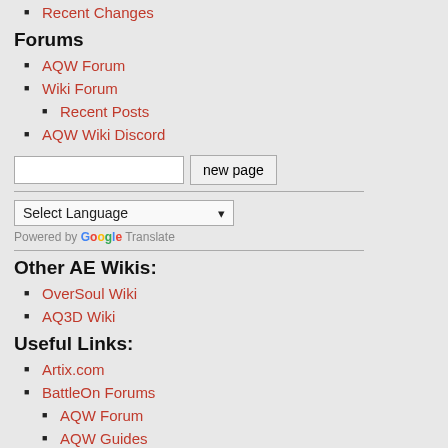Recent Changes
Forums
AQW Forum
Wiki Forum
Recent Posts
AQW Wiki Discord
Other AE Wikis:
OverSoul Wiki
AQ3D Wiki
Useful Links:
Artix.com
BattleOn Forums
AQW Forum
AQW Guides
BattleOn Portal
Stonewood - Plays after completing the 'Take the Axe!' quest
Tech Dungeon
Stellaria
Note: The music in this cutscene was changed.
«Scene: Black screen»